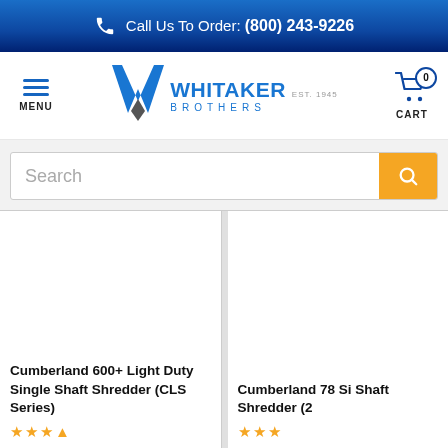Call Us To Order: (800) 243-9226
[Figure (logo): Whitaker Brothers logo with blue W icon, EST. 1945, and shopping cart with 0 badge. Left hamburger MENU icon.]
Search
Cumberland 600+ Light Duty Single Shaft Shredder (CLS Series)
Cumberland 78 Si Shaft Shredder (2